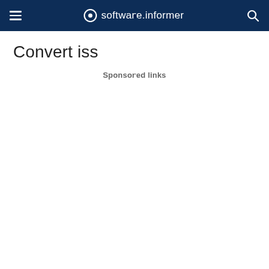software.informer
Convert iss
Sponsored links